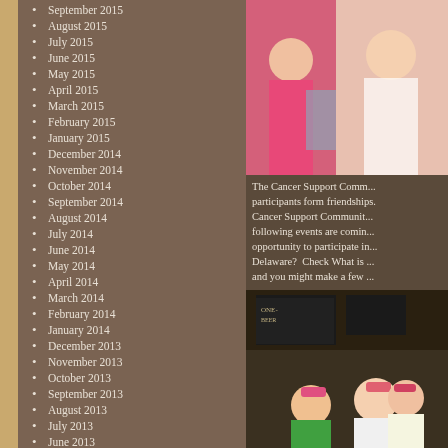September 2015
August 2015
July 2015
June 2015
May 2015
April 2015
March 2015
February 2015
January 2015
December 2014
November 2014
October 2014
September 2014
August 2014
July 2014
June 2014
May 2014
April 2014
March 2014
February 2014
January 2014
December 2013
November 2013
October 2013
September 2013
August 2013
July 2013
June 2013
May 2013
April 2013
March 2013
February 2013
[Figure (photo): Two women in pink attire at an outdoor event, one holding a water bottle]
The Cancer Support Comm... participants form friendships. Cancer Support Communit... following events are comin... opportunity to participate in... Delaware?  Check What is ... and you might make a few ...
[Figure (photo): Group of women wearing pink hats/headbands at an indoor venue with chalkboard menus]